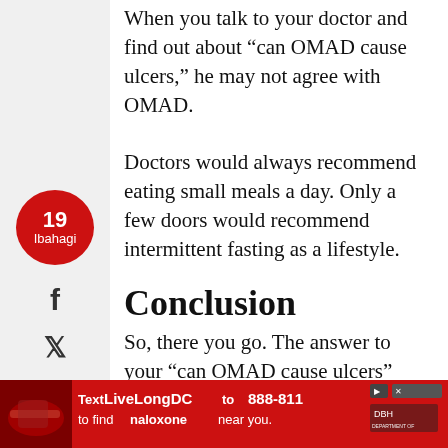When you talk to your doctor and find out about “can OMAD cause ulcers,” he may not agree with OMAD.
Doctors would always recommend eating small meals a day. Only a few doors would recommend intermittent fasting as a lifestyle.
Conclusion
So, there you go. The answer to your “can OMAD cause ulcers” question. The short answer is no.
It cannot cause peptic or stomach ulcers
[Figure (screenshot): Advertisement banner: Text LiveLongDC to 888-811 to find naloxone near you, with red background and product photo.]